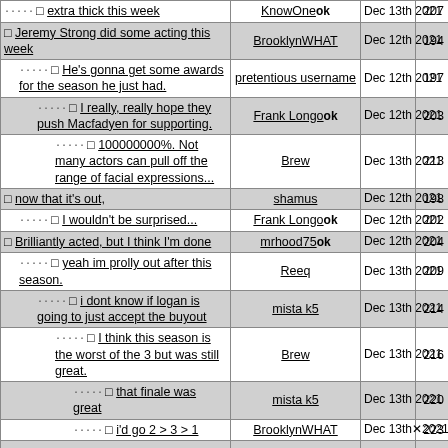| Thread/Title | User | Date | # |
| --- | --- | --- | --- |
| ↳ □ extra thick this week | KnowOne ok | Dec 13th 2021 | 207 |
| □ Jeremy Strong did some acting this week | BrooklynWHAT | Dec 12th 2021 | 194 |
| ↳ □ He's gonna get some awards for the season he just had. | pretentious username | Dec 12th 2021 | 197 |
|   ↳ □ I really, really hope they push Macfadyen for supporting. | Frank Longo ok | Dec 12th 2021 | 203 |
|     ↳ □ 100000000%. Not many actors can pull off the range of facial expressions... | Brew | Dec 13th 2021 | 213 |
| □ now that it's out, | shamus | Dec 12th 2021 | 198 |
| ↳ □ I wouldn't be surprised... | Frank Longo ok | Dec 12th 2021 | 202 |
| □ Brilliantly acted, but I think I'm done | mrhood75 ok | Dec 12th 2021 | 204 |
| ↳ □ yeah im prolly out after this season. | Reeq | Dec 13th 2021 | 209 |
|   ↳ □ i dont know if logan is going to just accept the buyout | mista k5 | Dec 13th 2021 | 214 |
|     ↳ □ I think this season is the worst of the 3 but was still great. | Brew | Dec 13th 2021 | 216 |
|       ↳ □ that finale was great | mista k5 | Dec 13th 2021 | 220 |
|       ↳ □ i'd go 2 > 3 > 1 | BrooklynWHAT | Dec 13th 2021 | 223 |
|       ↳ ... |  |  |  |